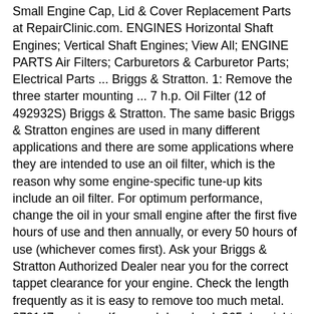Small Engine Cap, Lid & Cover Replacement Parts at RepairClinic.com. ENGINES Horizontal Shaft Engines; Vertical Shaft Engines; View All; ENGINE PARTS Air Filters; Carburetors & Carburetor Parts; Electrical Parts ... Briggs & Stratton. 1: Remove the three starter mounting ... 7 h.p. Oil Filter (12 of 492932S) Briggs & Stratton. The same basic Briggs & Stratton engines are used in many different applications and there are some applications where they are intended to use an oil filter, which is the reason why some engine-specific tune-up kits include an oil filter. For optimum performance, change the oil in your small engine after the first five hours of use and then annually, or every 50 hours of use (whichever comes first). Ask your Briggs & Stratton Authorized Dealer near you for the correct tappet clearance for your engine. Check the length frequently as it is easy to remove too much metal. 272147 engine pdf manual download. 365 day right part guaranteed return policy. 378 global ratings. Jeff's Little Engine Service shows you HOW TO remove, repair and rebuild a Briggs and Stratton 16.5 Horsepower INTEK OHV ENGINE WALBRO CARBURETOR. 365 day right part...